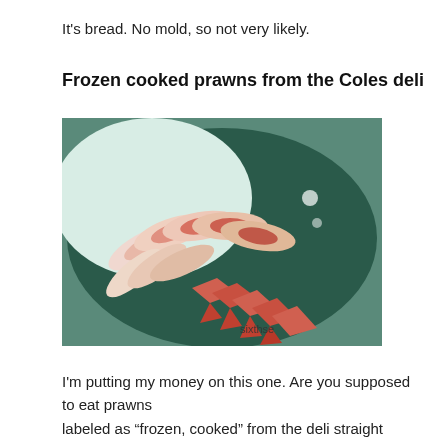It's bread. No mold, so not very likely.
Frozen cooked prawns from the Coles deli
[Figure (photo): Photo of cooked prawns/shrimp arranged in a fan pattern on a dark plate, with white and orange-red coloring. Watermark reads 'sixthse' in the lower right area.]
I'm putting my money on this one. Are you supposed to eat prawns labeled as “frozen, cooked” from the deli straight